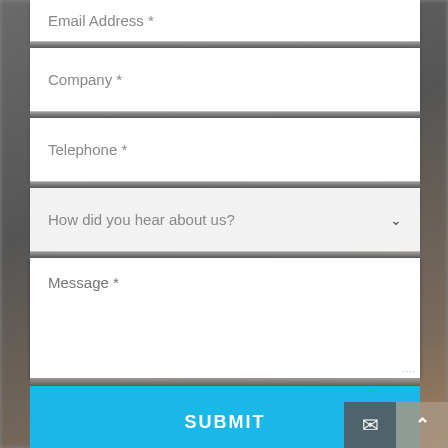[Figure (screenshot): Web contact form with fields: Email Address, Company, Telephone, How did you hear about us? (dropdown), Message, and a SUBMIT button. Blurred background with person visible. Bottom right has mail and up-arrow icon buttons.]
Email Address *
Company *
Telephone *
How did you hear about us?
Message *
SUBMIT